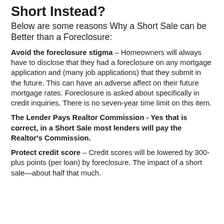Short Instead?
Below are some reasons Why a Short Sale can be Better than a Foreclosure:
Avoid the foreclosure stigma – Homeowners will always have to disclose that they had a foreclosure on any mortgage application and (many job applications) that they submit in the future. This can have an adverse affect on their future mortgage rates. Foreclosure is asked about specifically in credit inquiries. There is no seven-year time limit on this item.
The Lender Pays Realtor Commission - Yes that is correct, in a Short Sale most lenders will pay the Realtor's Commission.
Protect credit score – Credit scores will be lowered by 300-plus points (per loan) by foreclosure. The impact of a short sale—about half that much.